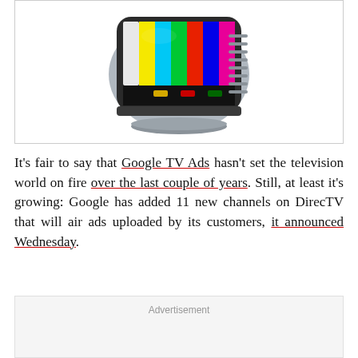[Figure (illustration): Cartoon illustration of a retro CRT television set displaying a color bar test pattern (red, green, blue, yellow color bars), with a gray plastic body, bottom stand, and vents on the right side.]
It's fair to say that Google TV Ads hasn't set the television world on fire over the last couple of years. Still, at least it's growing: Google has added 11 new channels on DirecTV that will air ads uploaded by its customers, it announced Wednesday.
Advertisement